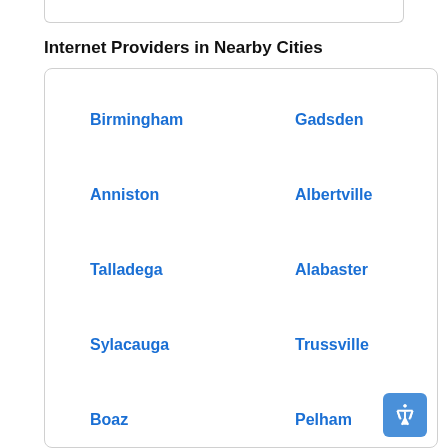Internet Providers in Nearby Cities
Birmingham
Gadsden
Anniston
Albertville
Talladega
Alabaster
Sylacauga
Trussville
Boaz
Pelham